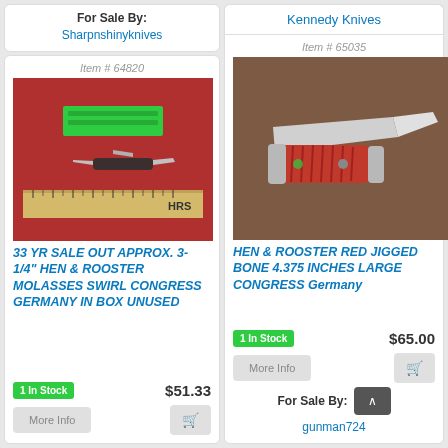For Sale By:
Sharpnshinyknives
Item # 64820
[Figure (photo): Pocket knife with multiple blades on a red cloth background with a ruler, green label box above]
33 YR SALE OUT APPROX. 3-1/4" HEN & ROOSTER MOLASSES SWIRL CONGRESS GERMANY IN BOX UNUSED
1 In Stock
$51.33
Kennedy Knives
Item # 65035
[Figure (photo): Red jigged bone folding knife open on a brown surface]
HEN & ROOSTER RED JIGGED BONE 4.375 INCHES LARGE CONGRESS Germany
1 In Stock
$65.00
For Sale By:
gunman724